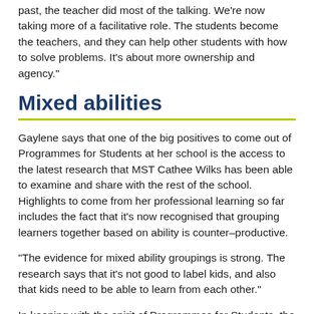past, the teacher did most of the talking. We're now taking more of a facilitative role. The students become the teachers, and they can help other students with how to solve problems. It's about more ownership and agency."
Mixed abilities
Gaylene says that one of the big positives to come out of Programmes for Students at her school is the access to the latest research that MST Cathee Wilks has been able to examine and share with the rest of the school. Highlights to come from her professional learning so far includes the fact that it's now recognised that grouping learners together based on ability is counter–productive.
“The evidence for mixed ability groupings is strong. The research says that it's not good to label kids, and also that kids need to be able to learn from each other."
In keeping with the spirit of Programmes for Students, the whole school is using the programme as a cue to focus on maths, so that Cathee's professional development is put to best use in the service